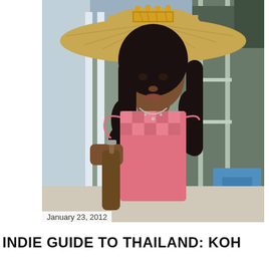[Figure (photo): Young woman with long dark curly hair wearing a large wide-brimmed straw hat with a decorative gold crown headpiece on top. She is wearing a pink and white gingham/checkered top and a silver necklace. She is holding a brown beer bottle. The background shows a balcony or outdoor area with stairs and blue furniture.]
January 23, 2012
INDIE GUIDE TO THAILAND: KOH